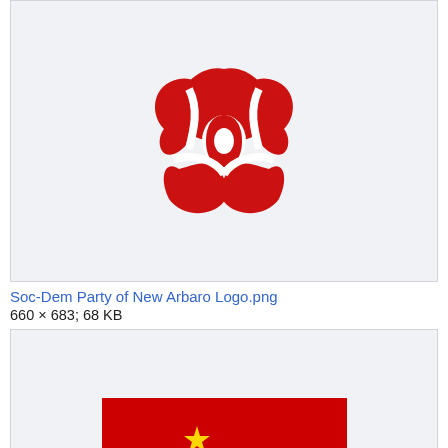[Figure (logo): Red abstract circular logo for Soc-Dem Party of New Arbaro, consisting of interlocking curved shapes forming a rose-like emblem]
Soc-Dem Party of New Arbaro Logo.png
660 × 683; 68 KB
[Figure (illustration): Red flag with yellow hammer and sickle symbol and a small yellow star, representing the Socialist Unity Party Flag of Kanazia]
Socialist Unity Party Flag (Kanazia).svg
3,986 × 2,657; 5 KB